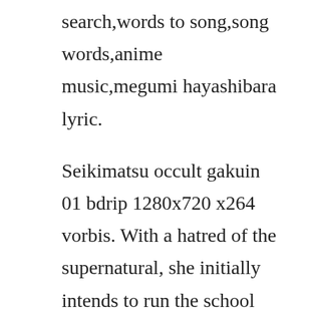search,words to song,song words,anime music,megumi hayashibara lyric.
Seikimatsu occult gakuin 01 bdrip 1280x720 x264 vorbis. With a hatred of the supernatural, she initially intends to run the school into the ground, but her plans are thrown into chaos when a new teacher, minoru abe, descends from the sky. In the year 2012, the world had been invaded by aliens and time travelers were sent back to the year 1999 in order to find and destroy the nostradamus key, which nostradamus prophecy foretold as what would bring about the apocalypse. Find out